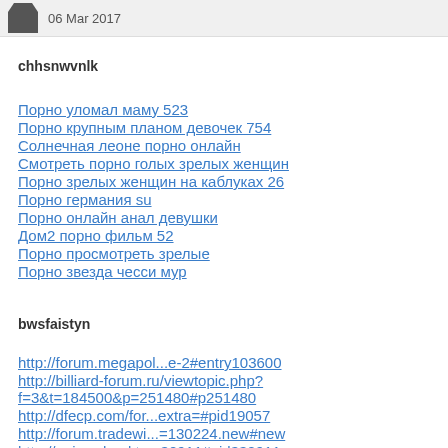06 Mar 2017
chhsnwvnlk
Порно уломал маму 523
Порно крупным планом девочек 754
Солнечная леоне порно онлайн
Смотреть порно голых зрелых женщин
Порно зрелых женщин на каблуках 26
Порно германия su
Порно онлайн анал девушки
Дом2 порно фильм 52
Порно просмотреть зрелые
Порно звезда чесси мур
bwsfaistyn
http://forum.megapol...e-2#entry103600
http://billiard-forum.ru/viewtopic.php?f=3&t=184500&p=251480#p251480
http://dfecp.com/for...extra=#pid19057
http://forum.tradewi...=130224.new#new
http://animschool.ta...30911#pid330911